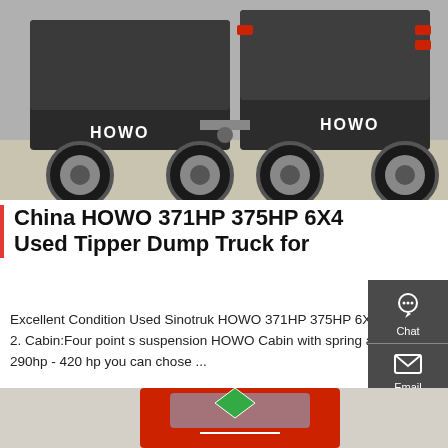[Figure (photo): Rear view of two HOWO trucks parked on a concrete surface]
China HOWO 371HP 375HP 6X4 Used Tipper Dump Truck for
Excellent Condition Used Sinotruk HOWO 371HP 375HP 6X4 Tipper Dump Truck for Africa Market 1. Based on STR technology from Austria 2. Cabin:Four point s suspension HOWO Cabin with spring and air shock absorber, VDO panel 4. Engine:336HP WD615 STR engine ( from 290hp - 420 hp you can chose ...
[Figure (screenshot): Right-side floating widget bar with Chat, Email, Contact, and Top buttons on dark grey background]
Get a Quote
[Figure (photo): Bottom portion of a red truck visible at the bottom of the page]